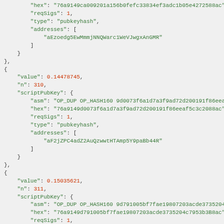JSON code block showing Bitcoin transaction output data with scriptPubKey fields including hex, reqSigs, type, addresses, value, n for entries 310, 311, and 312